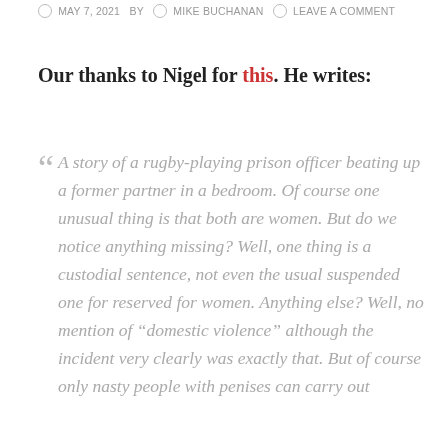MAY 7, 2021  BY  MIKE BUCHANAN  LEAVE A COMMENT
Our thanks to Nigel for this. He writes:
“ A story of a rugby-playing prison officer beating up a former partner in a bedroom. Of course one unusual thing is that both are women. But do we notice anything missing? Well, one thing is a custodial sentence, not even the usual suspended one for reserved for women. Anything else? Well, no mention of “domestic violence” although the incident very clearly was exactly that. But of course only nasty people with penises can carry out